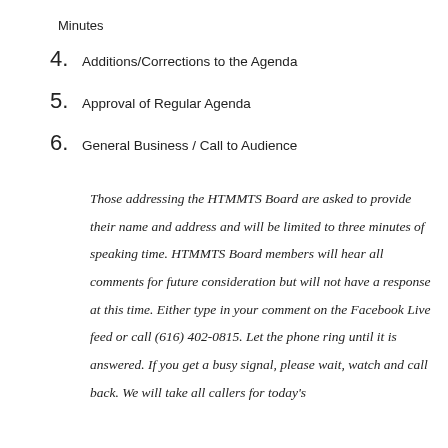Minutes
4. Additions/Corrections to the Agenda
5. Approval of Regular Agenda
6. General Business / Call to Audience
Those addressing the HTMMTS Board are asked to provide their name and address and will be limited to three minutes of speaking time. HTMMTS Board members will hear all comments for future consideration but will not have a response at this time. Either type in your comment on the Facebook Live feed or call (616) 402-0815. Let the phone ring until it is answered. If you get a busy signal, please wait, watch and call back. We will take all callers for today's